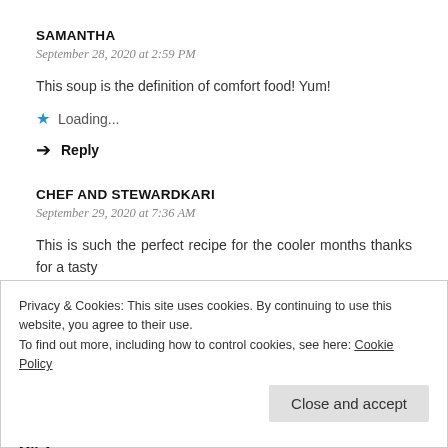SAMANTHA
September 28, 2020 at 2:59 PM
This soup is the definition of comfort food! Yum!
⭐ Loading...
→ Reply
CHEF AND STEWARDKARI
September 29, 2020 at 7:36 AM
This is such the perfect recipe for the cooler months thanks for a tasty treat!
Privacy & Cookies: This site uses cookies. By continuing to use this website, you agree to their use.
To find out more, including how to control cookies, see here: Cookie Policy
Close and accept
MILA